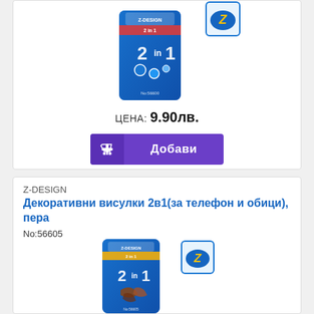[Figure (photo): Product photo of Z-Design decorative phone pendant in blue packaging with 2-in-1 design]
ЦЕНА: 9.90лв.
Добави
Z-DESIGN
Декоративни висулки 2в1(за телефон и обици), пера
No:56605
[Figure (photo): Product photo of Z-Design decorative pendant with feathers in blue packaging]